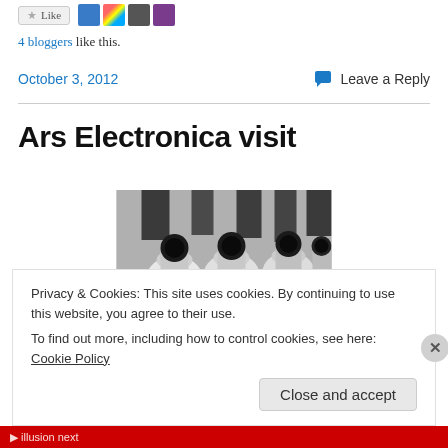4 bloggers like this.
October 3, 2012
Leave a Reply
Ars Electronica visit
[Figure (photo): Black and white photograph of robotic or mechanical hands holding cylindrical tubes with dark circular openings, arranged in a row.]
Privacy & Cookies: This site uses cookies. By continuing to use this website, you agree to their use.
To find out more, including how to control cookies, see here: Cookie Policy
Close and accept